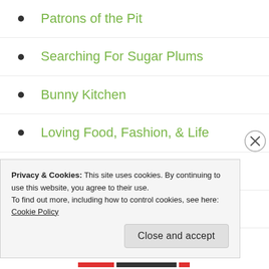Patrons of the Pit
Searching For Sugar Plums
Bunny Kitchen
Loving Food, Fashion, & Life
Mermaids and Sirens
Uni Homemaker
scarlet rosita
Privacy & Cookies: This site uses cookies. By continuing to use this website, you agree to their use.
To find out more, including how to control cookies, see here: Cookie Policy
Close and accept